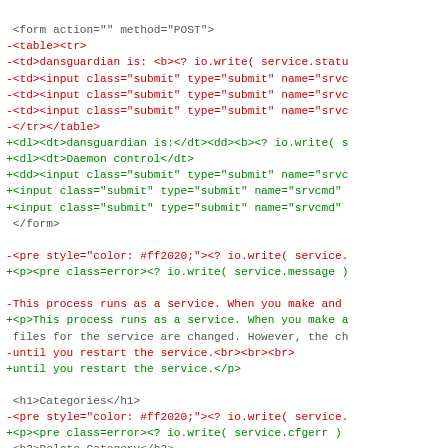Diff of HTML/template code showing removed (red) and added (green) lines for a web form and service control interface.